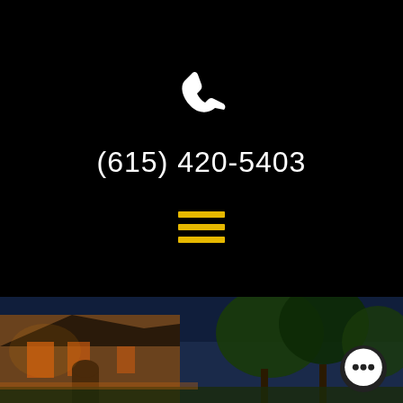[Figure (illustration): White phone handset icon on black background]
(615) 420-5403
[Figure (illustration): Three horizontal yellow/gold bars forming a hamburger menu icon on black background]
[Figure (photo): Nighttime exterior photo of a brick building with illuminated facade and trees against a dark blue sky, with a chat bubble icon in the lower right corner]